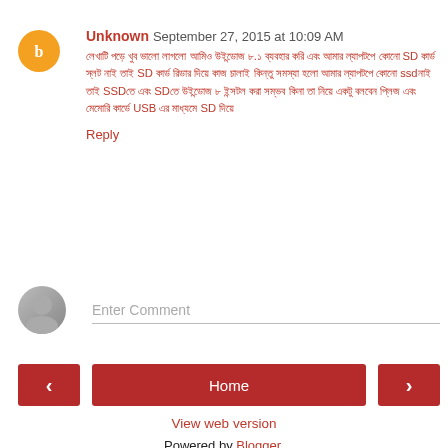Unknown  September 27, 2015 at 10:09 AM
লেখাটি পড়ে খুব ভালো লাগলো আমিও উইন্ডোজ ৮.১ ব্যবহার করি এবং আমার ল্যাপটপে কোনো SD কার্ড স্লট নাই তাই SD কার্ড রিডার দিয়ে কাজ চালাই কিন্তু সমস্যা হলো আমার ল্যাপটপে কোনো ssdনাই তাই SSDতে এবং SDতে উইন্ডোজ ৮ ইন্সটল করা সম্ভব কিনা তা নিয়ে একটু বলবেন প্লিজ এবং মেমোরি কার্ডে USB এর মাধ্যমে SD দিয়ে
Reply
Enter Comment
Home
View web version
Powered by Blogger.